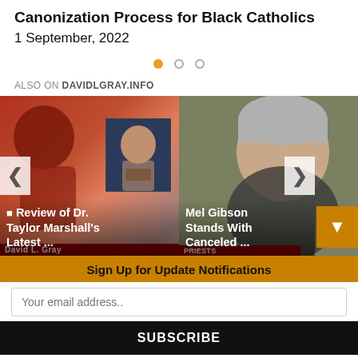Canonization Process for Black Catholics
1 September, 2022
ALSO ON DAVIDLGRAY.INFO
[Figure (screenshot): Carousel with two video thumbnails: left shows 'Review of Dr. Taylor Marshall's Latest ...' with a bald Black man and a bearded man; right shows 'Mel Gibson Stands With Canceled ...' with an older white man with grey hair. Navigation arrows on left and right sides.]
Sign Up for Update Notifications
Your email address..
SUBSCRIBE